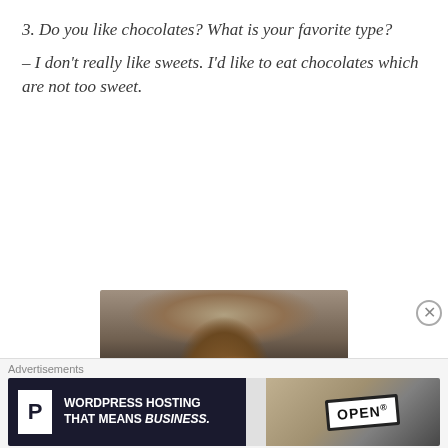3. Do you like chocolates? What is your favorite type?
– I don't really like sweets. I'd like to eat chocolates which are not too sweet.
[Figure (photo): Photo of a baby in an orange outfit appearing to eat or mouth something, blurred background with kitchen/industrial setting]
Advertisements
[Figure (screenshot): Advertisement banner: WordPress Hosting That Means Business, with P logo on dark background and an OPEN sign on the right side]